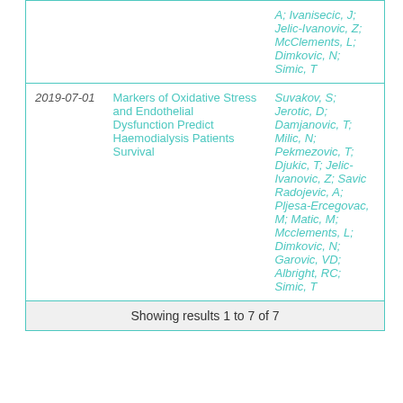| Date | Title | Authors |
| --- | --- | --- |
|  | A; Ivanisecic, J; Jelic-Ivanovic, Z; McClements, L; Dimkovic, N; Simic, T |
| 2019-07-01 | Markers of Oxidative Stress and Endothelial Dysfunction Predict Haemodialysis Patients Survival | Suvakov, S; Jerotic, D; Damjanovic, T; Milic, N; Pekmezovic, T; Djukic, T; Jelic-Ivanovic, Z; Savic Radojevic, A; Pljesa-Ercegovac, M; Matic, M; Mcclements, L; Dimkovic, N; Garovic, VD; Albright, RC; Simic, T |
| Showing results 1 to 7 of 7 |  |  |